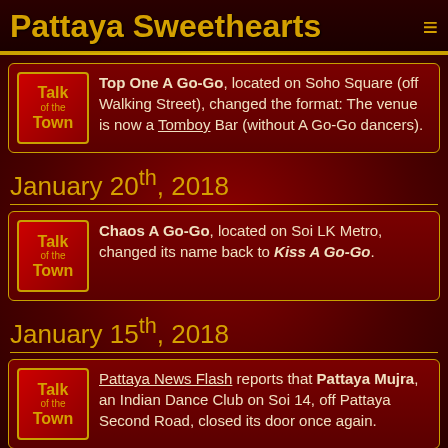Pattaya Sweethearts
Top One A Go-Go, located on Soho Square (off Walking Street), changed the format: The venue is now a Tomboy Bar (without A Go-Go dancers).
January 20th, 2018
Chaos A Go-Go, located on Soi LK Metro, changed its name back to Kiss A Go-Go.
January 15th, 2018
Pattaya News Flash reports that Pattaya Mujra, an Indian Dance Club on Soi 14, off Pattaya Second Road, closed its door once again.
January 12th, 2018